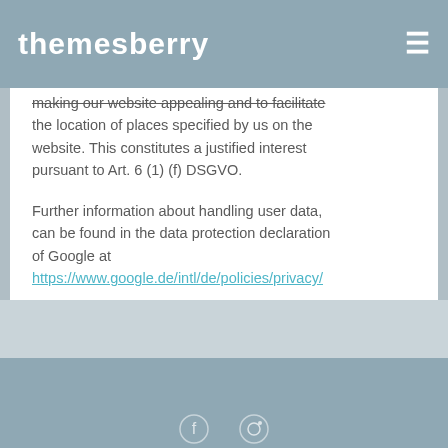themesberry
making our website appealing and to facilitate the location of places specified by us on the website. This constitutes a justified interest pursuant to Art. 6 (1) (f) DSGVO.

Further information about handling user data, can be found in the data protection declaration of Google at https://www.google.de/intl/de/policies/privacy/